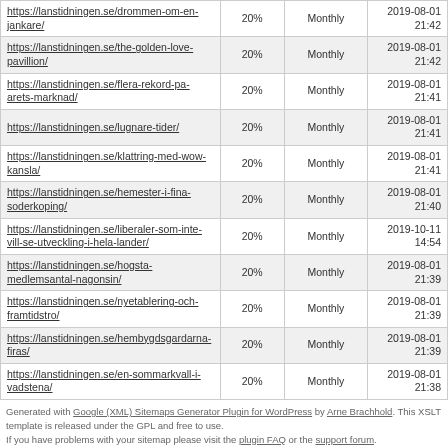| https://lanstidningen.se/drommen-om-en-jankare/ | 20% | Monthly | 2019-08-01 21:42 |
| https://lanstidningen.se/the-golden-love-pavillion/ | 20% | Monthly | 2019-08-01 21:42 |
| https://lanstidningen.se/flera-rekord-pa-arets-marknad/ | 20% | Monthly | 2019-08-01 21:41 |
| https://lanstidningen.se/lugnare-tider/ | 20% | Monthly | 2019-08-01 21:41 |
| https://lanstidningen.se/klattring-med-wow-kansla/ | 20% | Monthly | 2019-08-01 21:41 |
| https://lanstidningen.se/hemester-i-fina-soderkoping/ | 20% | Monthly | 2019-08-01 21:40 |
| https://lanstidningen.se/liberaler-som-inte-vill-se-utveckling-i-hela-lander/ | 20% | Monthly | 2019-10-11 14:54 |
| https://lanstidningen.se/hogsta-medlemsantal-nagonsin/ | 20% | Monthly | 2019-08-01 21:39 |
| https://lanstidningen.se/nyetablering-och-framtidstro/ | 20% | Monthly | 2019-08-01 21:39 |
| https://lanstidningen.se/hembygdsgardarna-firas/ | 20% | Monthly | 2019-08-01 21:39 |
| https://lanstidningen.se/en-sommarkvall-i-vadstena/ | 20% | Monthly | 2019-08-01 21:38 |
Generated with Google (XML) Sitemaps Generator Plugin for WordPress by Arne Brachhold. This XSLT template is released under the GPL and free to use.
If you have problems with your sitemap please visit the plugin FAQ or the support forum.